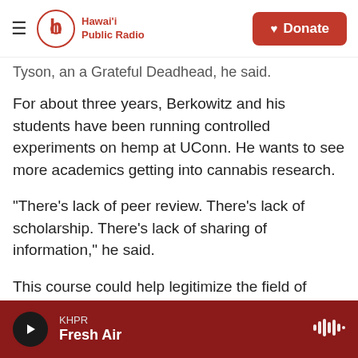Hawai'i Public Radio | Donate
Tyson, an a Grateful Deadhead, he said.
For about three years, Berkowitz and his students have been running controlled experiments on hemp at UConn. He wants to see more academics getting into cannabis research.
"There's lack of peer review. There's lack of scholarship. There's lack of sharing of information," he said.
This course could help legitimize the field of cannabis research, he added, as long as students "treat the course as seriously as we're offering it."
KHPR Fresh Air